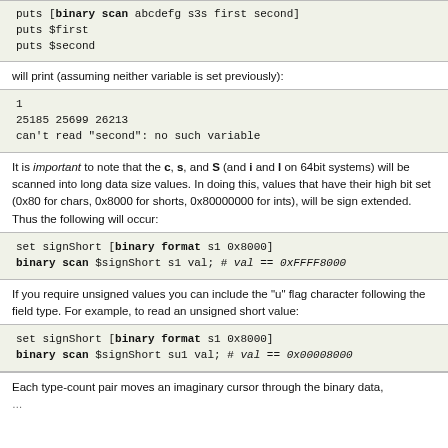puts [binary scan abcdefg s3s first second]
puts $first
puts $second
will print (assuming neither variable is set previously):
1
25185 25699 26213
can't read "second": no such variable
It is important to note that the c, s, and S (and i and l on 64bit systems) will be scanned into long data size values. In doing this, values that have their high bit set (0x80 for chars, 0x8000 for shorts, 0x80000000 for ints), will be sign extended. Thus the following will occur:
set signShort [binary format s1 0x8000]
binary scan $signShort s1 val; # val == 0xFFFF8000
If you require unsigned values you can include the "u" flag character following the field type. For example, to read an unsigned short value:
set signShort [binary format s1 0x8000]
binary scan $signShort su1 val; # val == 0x00008000
Each type-count pair moves an imaginary cursor through the binary data,